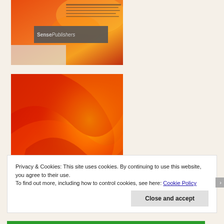[Figure (photo): Top portion of a book cover with orange/red design and 'SensePublishers' logo on a dark grey banner]
[Figure (photo): Book cover for 'Priorities in Teacher Education' with red and orange swirling design and white serif text]
Privacy & Cookies: This site uses cookies. By continuing to use this website, you agree to their use.
To find out more, including how to control cookies, see here: Cookie Policy
Close and accept